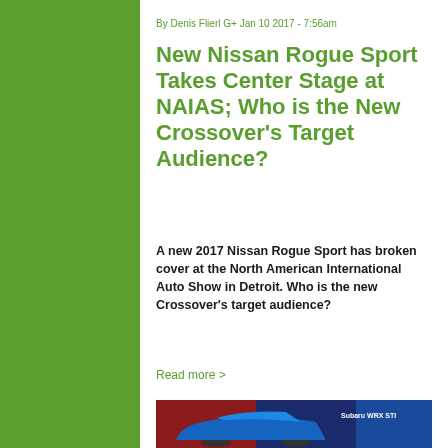By Denis Flierl G+ Jan 10 2017 - 7:56am
New Nissan Rogue Sport Takes Center Stage at NAIAS; Who is the New Crossover’s Target Audience?
A new 2017 Nissan Rogue Sport has broken cover at the North American International Auto Show in Detroit. Who is the new Crossover’s target audience?
Read more >
[Figure (photo): Photo of a blue Subaru WRX STI at what appears to be an auto show, with signage visible in the background]